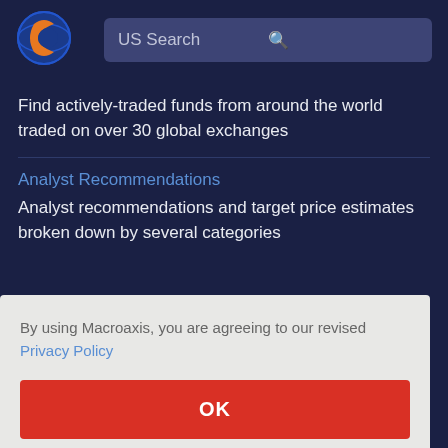[Figure (logo): Macroaxis globe logo with orange and blue colors]
US Search
Find actively-traded funds from around the world traded on over 30 global exchanges
Analyst Recommendations
Analyst recommendations and target price estimates broken down by several categories
By using Macroaxis, you are agreeing to our revised Privacy Policy
OK